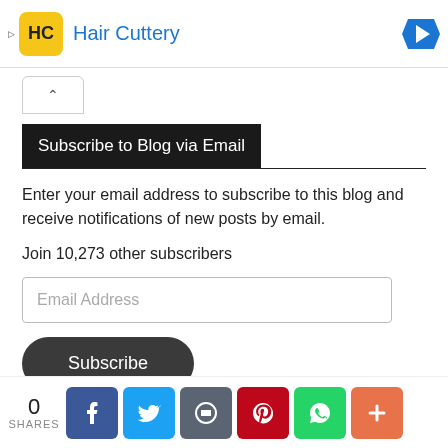[Figure (screenshot): Advertisement banner for Hair Cuttery with yellow logo icon and blue navigation arrow]
Subscribe to Blog via Email
Enter your email address to subscribe to this blog and receive notifications of new posts by email.
Join 10,273 other subscribers
[Figure (screenshot): Email address input field with placeholder text 'Email Address']
[Figure (screenshot): Dark rounded Subscribe button]
0 SHARES — Social sharing icons: Facebook, Twitter, Email, Pinterest, WhatsApp, More